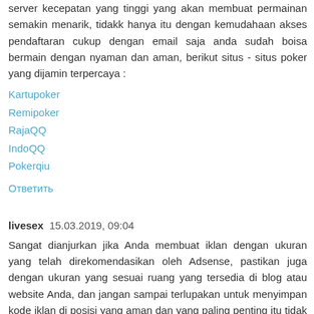server kecepatan yang tinggi yang akan membuat permainan semakin menarik, tidakk hanya itu dengan kemudahaan akses pendaftaran cukup dengan email saja anda sudah boisa bermain dengan nyaman dan aman, berikut situs - situs poker yang dijamin terpercaya :
Kartupoker
Remipoker
RajaQQ
IndoQQ
Pokerqiu
Ответить
livesex  15.03.2019, 09:04
Sangat dianjurkan jika Anda membuat iklan dengan ukuran yang telah direkomendasikan oleh Adsense, pastikan juga dengan ukuran yang sesuai ruang yang tersedia di blog atau website Anda, dan jangan sampai terlupakan untuk menyimpan kode iklan di posisi yang aman dan yang paling penting itu tidak melanggar aturan.
Mengingatkan bila membuat iklan dengan...